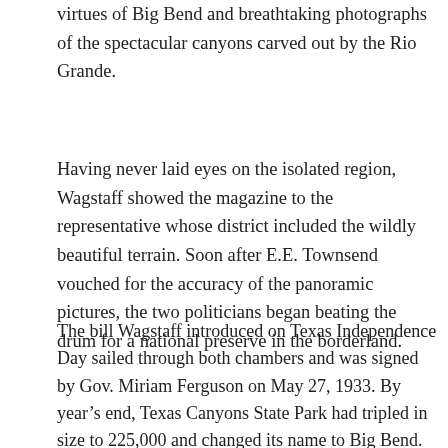virtues of Big Bend and breathtaking photographs of the spectacular canyons carved out by the Rio Grande.
Having never laid eyes on the isolated region, Wagstaff showed the magazine to the representative whose district included the wildly beautiful terrain. Soon after E.E. Townsend vouched for the accuracy of the panoramic pictures, the two politicians began beating the drum for a national preserve in the borderland.
The bill Wagstaff introduced on Texas Independence Day sailed through both chambers and was signed by Gov. Miriam Ferguson on May 27, 1933. By year's end, Texas Canyons State Park had tripled in size to 225,000 and changed its name to Big Bend.
The National Park Service inspector took a four-day tour of the rocky region in January 1934 and came away profoundly impressed. In his enthusiastic endorsement of Big Bend, he stated that the comparatively unknown area possessed the